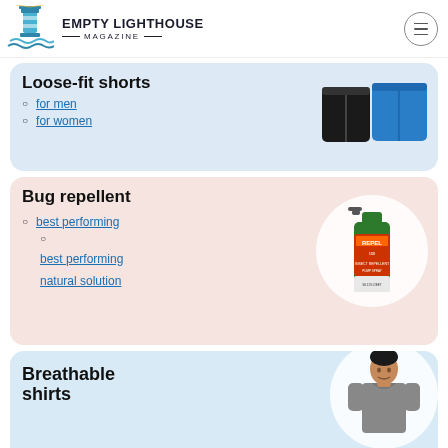EMPTY LIGHTHOUSE MAGAZINE
Loose-fit shorts
for men
for women
Bug repellent
best performing
best performing natural solution
Breathable shirts